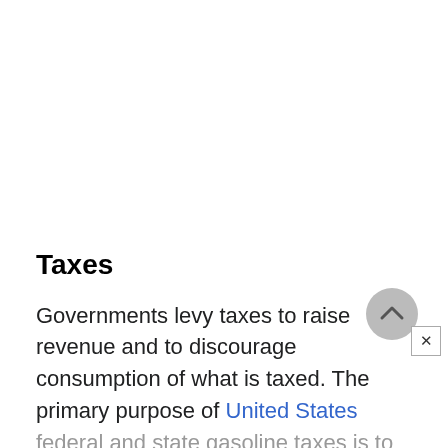Taxes
Governments levy taxes to raise revenue and to discourage consumption of what is taxed. The primary purpose of United States federal and state gasoline taxes is to raise revenue for transportation